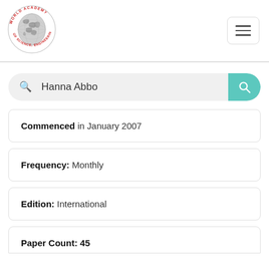[Figure (logo): World Academy of Science, Engineering and Technology circular logo with globe]
Hanna Abbo (search query)
Commenced in January 2007
Frequency: Monthly
Edition: International
Paper Count: 45